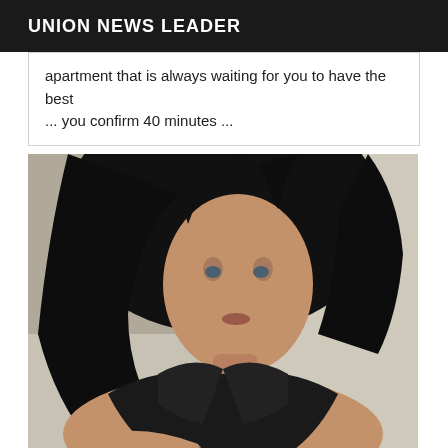UNION NEWS LEADER
apartment that is always waiting for you to have the best ... you confirm 40 minutes ...
[Figure (photo): Woman with dark hair wearing a black leather bikini top, reclining on a light-colored couch or cushioned surface]